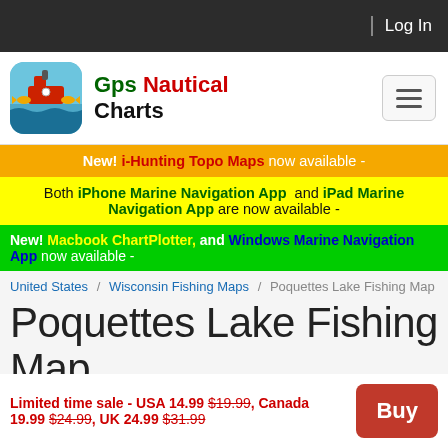Log In
[Figure (logo): Gps Nautical Charts app icon with ship and fish]
Gps Nautical Charts
New! i-Hunting Topo Maps now available -
Both iPhone Marine Navigation App and iPad Marine Navigation App are now available -
New! Macbook ChartPlotter, and Windows Marine Navigation App now available -
United States / Wisconsin Fishing Maps / Poquettes Lake Fishing Map
Poquettes Lake Fishing Map
Limited time sale - USA 14.99 $19.99, Canada 19.99 $24.99, UK 24.99 $31.99